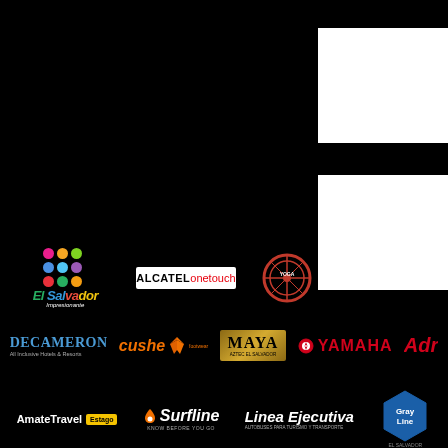[Figure (other): White rectangle block top right area 1]
[Figure (other): White rectangle block top right area 2]
[Figure (logo): El Salvador Impresionante logo - colorful dots with multi-color text]
[Figure (logo): ALCATEL onetouch logo on white background]
[Figure (logo): Circular wheel/compass badge logo (red border)]
[Figure (logo): SURFOS logo in white bold text]
[Figure (logo): Decameron All Inclusive Hotels & Resorts logo]
[Figure (logo): cushe footwear logo in orange]
[Figure (logo): MAYA logo on gold background]
[Figure (logo): YAMAHA logo in red with tuning fork icon]
[Figure (logo): Partially visible red logo (Adr...)]
[Figure (logo): AmateTavel with Estago badge]
[Figure (logo): Surfline Know Before You Go logo]
[Figure (logo): Linea Ejecutiva logo in white italic]
[Figure (logo): Gray Line El Salvador hexagon logo in blue]